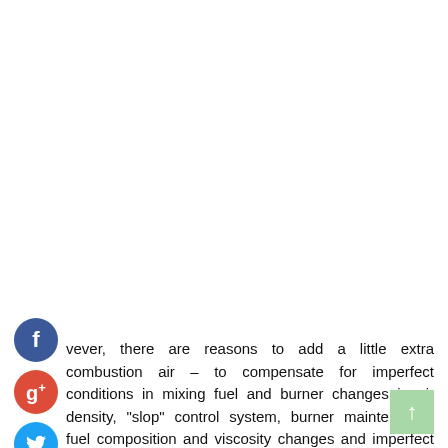[Figure (illustration): Facebook social share icon - blue circle with white letter f]
[Figure (illustration): Google+ social share icon - red circle with white g+ text]
[Figure (illustration): Twitter social share icon - blue circle with white bird icon]
[Figure (illustration): Add/share icon - dark circle with white plus sign]
vever, there are reasons to add a little extra combustion air – to compensate for imperfect conditions in mixing fuel and burner changes in air density, "slop" control system, burner maintenance, fuel composition and viscosity changes and imperfect spray control. for steam burners.
[Figure (illustration): Scroll-to-top button - light green square with white upward arrow]